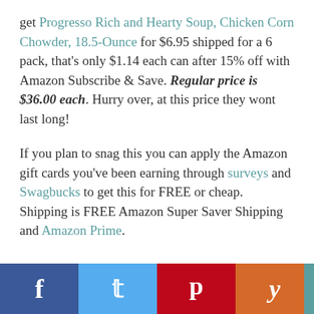get Progresso Rich and Hearty Soup, Chicken Corn Chowder, 18.5-Ounce for $6.95 shipped for a 6 pack, that's only $1.14 each can after 15% off with Amazon Subscribe & Save. Regular price is $36.00 each. Hurry over, at this price they wont last long!
If you plan to snag this you can apply the Amazon gift cards you've been earning through surveys and Swagbucks to get this for FREE or cheap. Shipping is FREE Amazon Super Saver Shipping and Amazon Prime.
[Figure (other): Social sharing bar with Facebook, Twitter, Pinterest, and Yummly buttons]